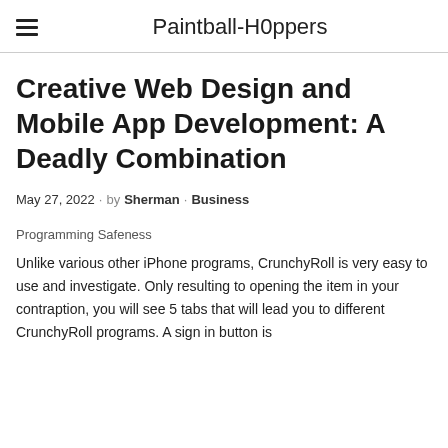Paintball-H0ppers
Creative Web Design and Mobile App Development: A Deadly Combination
May 27, 2022 · by Sherman · Business
Programming Safeness
Unlike various other iPhone programs, CrunchyRoll is very easy to use and investigate. Only resulting to opening the item in your contraption, you will see 5 tabs that will lead you to different CrunchyRoll programs. A sign in button is